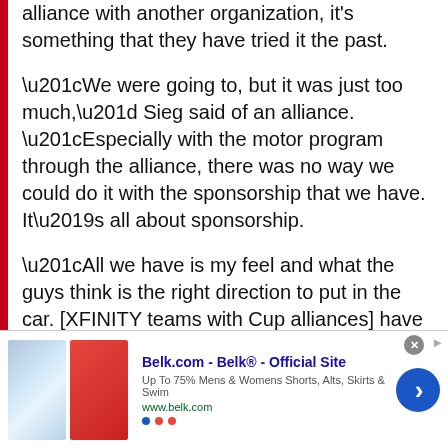alliance with another organization, it's something that they have tried it the past.
“We were going to, but it was just too much,” Sieg said of an alliance. “Especially with the motor program through the alliance, there was no way we could do it with the sponsorship that we have. It’s all about sponsorship.
“All we have is my feel and what the guys think is the right direction to put in the car. [XFINITY teams with Cup alliances] have a simulator, computer system and technology, but that’s what the alliance is.
[Figure (infographic): Advertisement banner for Belk.com showing clothing items (skirts) with text 'Belk.com - Belk® - Official Site', 'Up To 75% Mens & Womens Shorts, Alts, Skirts & Swim', 'www.belk.com', and a blue arrow button.]